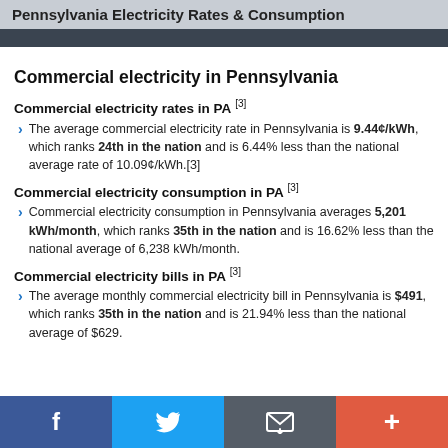Pennsylvania Electricity Rates & Consumption
Commercial electricity in Pennsylvania
Commercial electricity rates in PA [3]
The average commercial electricity rate in Pennsylvania is 9.44¢/kWh, which ranks 24th in the nation and is 6.44% less than the national average rate of 10.09¢/kWh.[3]
Commercial electricity consumption in PA [3]
Commercial electricity consumption in Pennsylvania averages 5,201 kWh/month, which ranks 35th in the nation and is 16.62% less than the national average of 6,238 kWh/month.
Commercial electricity bills in PA [3]
The average monthly commercial electricity bill in Pennsylvania is $491, which ranks 35th in the nation and is 21.94% less than the national average of $629.
f  Twitter  Email  +